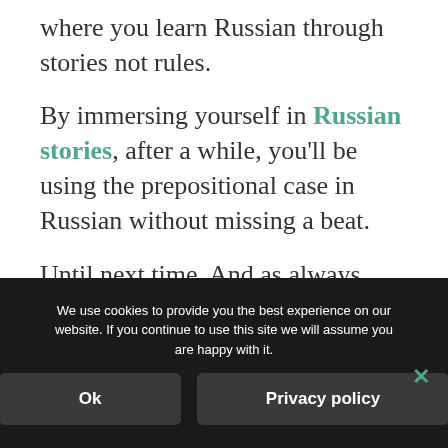where you learn Russian through stories not rules.
By immersing yourself in Russian stories, after a while, you'll be using the prepositional case in Russian without missing a beat.
Until next time. And as always Удача из удач! (Best of luck!)
We use cookies to provide you the best experience on our website. If you continue to use this site we will assume you are happy with it.